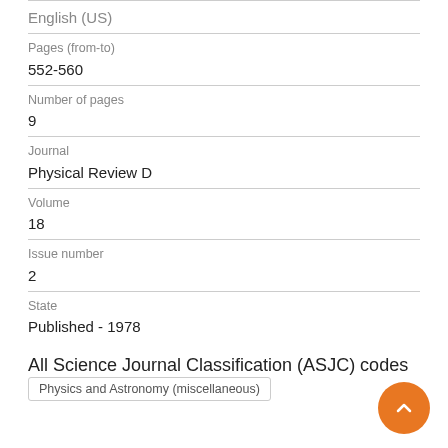English (US)
Pages (from-to)
552-560
Number of pages
9
Journal
Physical Review D
Volume
18
Issue number
2
State
Published - 1978
All Science Journal Classification (ASJC) codes
Physics and Astronomy (miscellaneous)